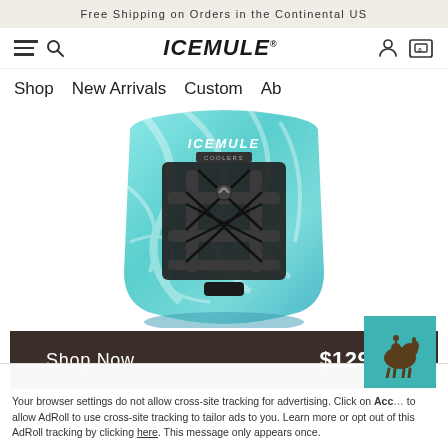Free Shipping on Orders in the Continental US
[Figure (screenshot): IceMule website navigation bar with hamburger menu, search icon, ICEMULE logo, account and cart icons]
Shop   New Arrivals   Custom   Ab
[Figure (photo): IceMule backpack cooler in aqua/teal marble pattern with black lacing panel and ICEMULE COOLERS logo]
Shop Now   $129.95
Pro™ Large 33L
Your browser settings do not allow cross-site tracking for advertising. Click on Acc... to allow AdRoll to use cross-site tracking to tailor ads to you. Learn more or opt out of this AdRoll tracking by clicking here. This message only appears once.